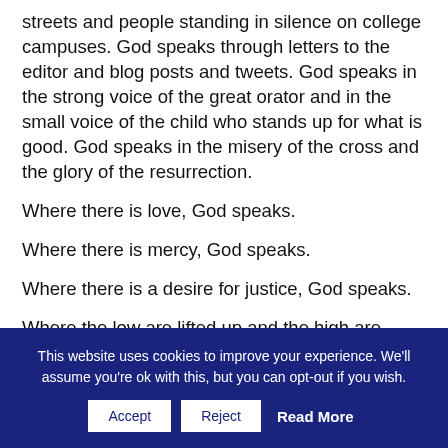streets and people standing in silence on college campuses. God speaks through letters to the editor and blog posts and tweets. God speaks in the strong voice of the great orator and in the small voice of the child who stands up for what is good. God speaks in the misery of the cross and the glory of the resurrection.
Where there is love, God speaks.
Where there is mercy, God speaks.
Where there is a desire for justice, God speaks.
Where the low are lifted up and the high are
This website uses cookies to improve your experience. We'll assume you're ok with this, but you can opt-out if you wish.